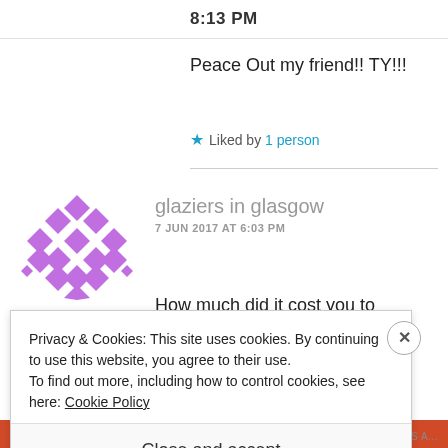8:13 PM
Peace Out my friend!! TY!!!
★ Liked by 1 person
glaziers in glasgow
7 JUN 2017 AT 6:03 PM
How much did it cost you to
Privacy & Cookies: This site uses cookies. By continuing to use this website, you agree to their use.
To find out more, including how to control cookies, see here: Cookie Policy
Close and accept